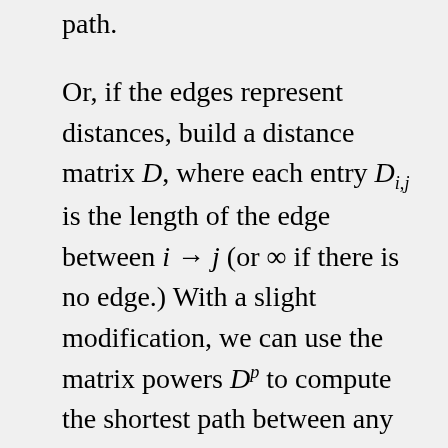path.
Or, if the edges represent distances, build a distance matrix D, where each entry D_{i,j} is the length of the edge between i → j (or ∞ if there is no edge.) With a slight modification, we can use the matrix powers D^p to compute the shortest path between any two nodes. Just redefine arithmetic operations so that addition of two numbers instead computes their minimum, and multiplication of two numbers instead computes their sum. Then the